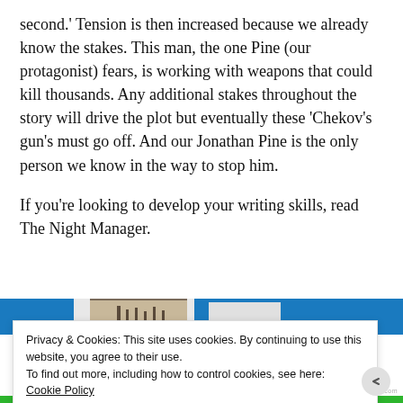second.' Tension is then increased because we already know the stakes. This man, the one Pine (our protagonist) fears, is working with weapons that could kill thousands. Any additional stakes throughout the story will drive the plot but eventually these 'Chekov's gun's must go off. And our Jonathan Pine is the only person we know in the way to stop him.

If you're looking to develop your writing skills, read The Night Manager.
[Figure (screenshot): Partial image strip showing blue, grey, and light background book-related images]
Privacy & Cookies: This site uses cookies. By continuing to use this website, you agree to their use.
To find out more, including how to control cookies, see here:
Cookie Policy

Close and accept